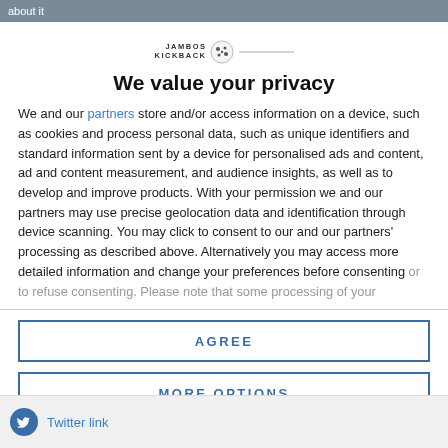about it
[Figure (logo): Jambos Kickback logo with cookie icon and horizontal line]
We value your privacy
We and our partners store and/or access information on a device, such as cookies and process personal data, such as unique identifiers and standard information sent by a device for personalised ads and content, ad and content measurement, and audience insights, as well as to develop and improve products. With your permission we and our partners may use precise geolocation data and identification through device scanning. You may click to consent to our and our partners' processing as described above. Alternatively you may access more detailed information and change your preferences before consenting or to refuse consenting. Please note that some processing of your
AGREE
MORE OPTIONS
Twitter logo / Twitter link